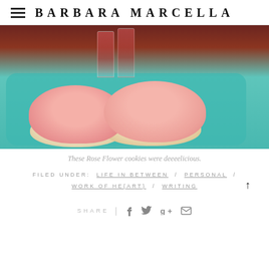BARBARA MARCELLA
[Figure (photo): Two pink-frosted sugar cookies on a teal/turquoise plate with a glass of red liquid in the background]
These Rose Flower cookies were deeeelicious.
FILED UNDER: LIFE IN BETWEEN / PERSONAL / WORK OF HE{ART} / WRITING
SHARE | f t g+ ✉